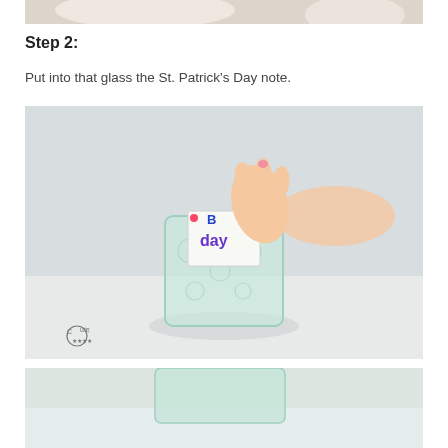[Figure (photo): Top portion of a craft photo showing a light-colored object on a white surface, cropped at top of page]
Step 2:
Put into that glass the St. Patrick's Day note.
[Figure (photo): A hand placing a St. Patrick's Day note into a green textured glass on a light surface. The note has colorful letters including 'day'. A 'Cute' watermark is visible in the lower left corner.]
[Figure (photo): Bottom portion of another craft step photo, cropped at bottom of page]